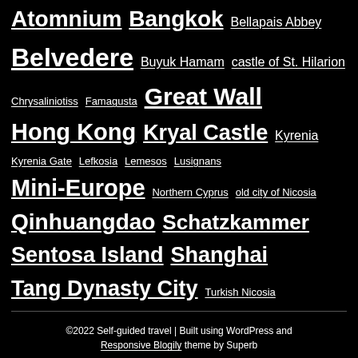Atomnium Bangkok Bellapais Abbey
Belvedere Buyuk Hamam castle of St. Hilarion
Chrysaliniotiss Famagusta Great Wall
Hong Kong Kryal Castle Kyrenia
Kyrenia Gate Lefkosia Lemesos Lusignans
Mini-Europe Northern Cyprus old city of Nicosia
Qinhuangdao Schatzkammer
Sentosa Island Shanghai
Tang Dynasty City Turkish Nicosia
©2022 Self-guided travel | Built using WordPress and Responsive Blogily theme by Superb